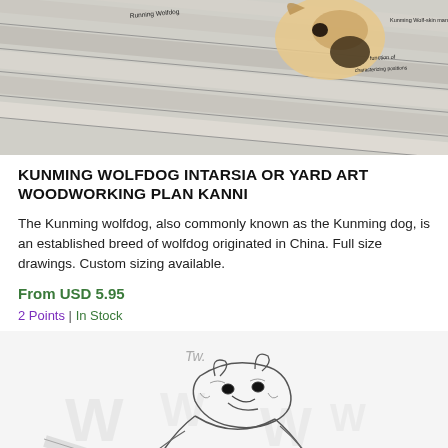[Figure (illustration): Top portion of a woodworking plan illustration showing a Kunming wolfdog intarsia pattern with diagonal wood strips and a dog head visible, with text annotations on the drawing.]
KUNMING WOLFDOG INTARSIA OR YARD ART WOODWORKING PLAN KANNI
The Kunming wolfdog, also commonly known as the Kunming dog, is an established breed of wolfdog originated in China. Full size drawings. Custom sizing available.
From USD 5.95
2 Points | In Stock
[Figure (illustration): Bottom portion showing a woodworking plan illustration of a wolf/dog figure with line art details, watermark text overlay reading 'W' and partial letters visible.]